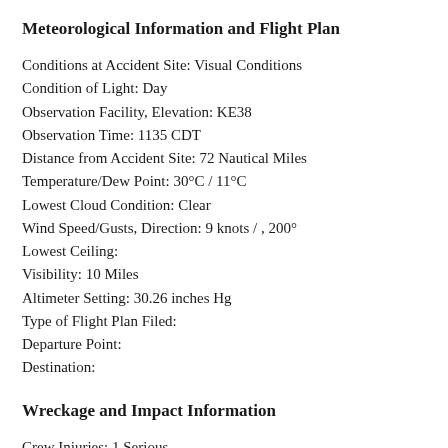Meteorological Information and Flight Plan
Conditions at Accident Site: Visual Conditions
Condition of Light: Day
Observation Facility, Elevation: KE38
Observation Time: 1135 CDT
Distance from Accident Site: 72 Nautical Miles
Temperature/Dew Point: 30°C / 11°C
Lowest Cloud Condition: Clear
Wind Speed/Gusts, Direction: 9 knots / , 200°
Lowest Ceiling:
Visibility: 10 Miles
Altimeter Setting: 30.26 inches Hg
Type of Flight Plan Filed:
Departure Point:
Destination:
Wreckage and Impact Information
Crew Injuries: 1 Serious
Aircraft Damage: Destroyed